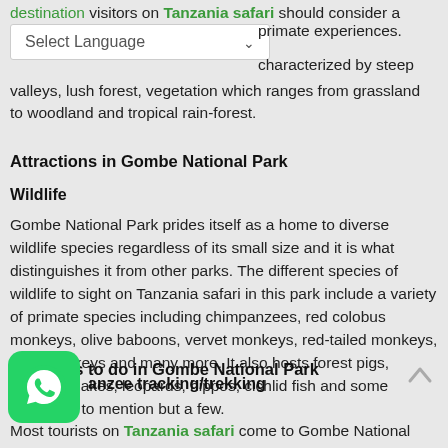destination visitors on Tanzania safari should consider a primate experiences. characterized by steep valleys, lush forest, vegetation which ranges from grassland to woodland and tropical rain-forest.
[Figure (screenshot): Select Language dropdown widget]
Attractions in Gombe National Park
Wildlife
Gombe National Park prides itself as a home to diverse wildlife species regardless of its small size and it is what distinguishes it from other parks. The different species of wildlife to sight on Tanzania safari in this park include a variety of primate species including chimpanzees, red colobus monkeys, olive baboons, vervet monkeys, red-tailed monkeys, blue monkeys and many more. It also hosts forest pigs, several snakes, leopards, hippos, cichlid fish and some antelopes to mention but a few.
Activities to do in Gombe National Park
Chimpanzee tracking/trekking
Most tourists on Tanzania safari come to Gombe National